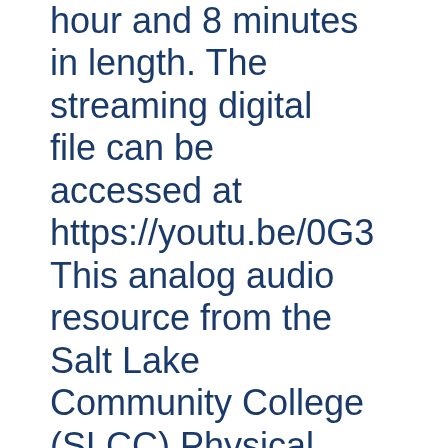hour and 8 minutes in length. The streaming digital file can be accessed at https://youtu.be/0G3 This analog audio resource from the Salt Lake Community College (SLCC) Physical Archives was digitized in Fall 2013 with funds provided by the Institute of Museum and Library Services through the Library